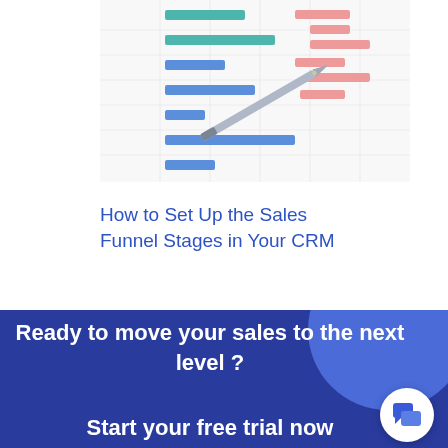[Figure (photo): A photo of a Gantt chart / project schedule on paper with a pen resting on it. The chart shows colored horizontal bars (teal, blue, salmon/pink) arranged in rows representing tasks or stages.]
How to Set Up the Sales Funnel Stages in Your CRM
Ready to move your sales to the next level ?
Start your free trial now